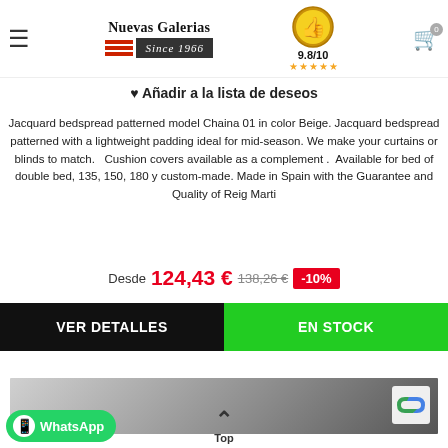[Figure (screenshot): Nuevas Galerias website header with logo 'Nuevas Galerias Since 1966', hamburger menu, trust badge showing 9.8/10 with 5 stars, and shopping cart icon]
♥ Añadir a la lista de deseos
Jacquard bedspread patterned model Chaina 01 in color Beige. Jacquard bedspread patterned with a lightweight padding ideal for mid-season. We make your curtains or blinds to match.   Cushion covers available as a complement .  Available for bed of double bed, 135, 150, 180 y custom-made. Made in Spain with the Guarantee and Quality of Reig Marti
Desde 124,43 € 138,26 € -10%
VER DETALLES
EN STOCK
[Figure (photo): Partial view of a bedroom photo at the bottom of the page]
WhatsApp
Top